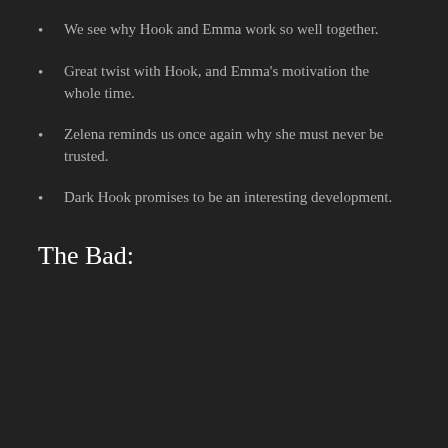We see why Hook and Emma work so well together.
Great twist with Hook, and Emma's motivation the whole time.
Zelena reminds us once again why she must never be trusted.
Dark Hook promises to be an interesting development.
The Bad: